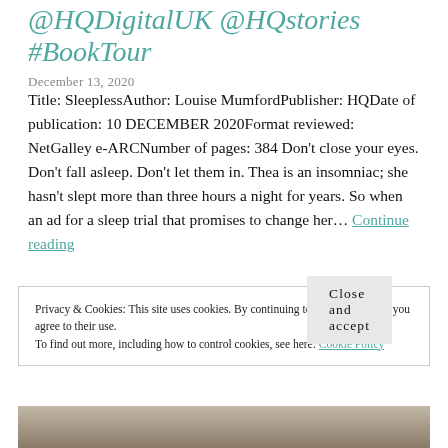@HQDigitalUK @HQstories #BookTour
December 13, 2020
Title: SleeplessAuthor: Louise MumfordPublisher: HQDate of publication: 10 DECEMBER 2020Format reviewed: NetGalley e-ARCNumber of pages: 384 Don't close your eyes. Don't fall asleep. Don't let them in. Thea is an insomniac; she hasn't slept more than three hours a night for years. So when an ad for a sleep trial that promises to change her… Continue reading
Privacy & Cookies: This site uses cookies. By continuing to use this website, you agree to their use. To find out more, including how to control cookies, see here: Cookie Policy
Close and accept
[Figure (photo): Bottom strip showing a dark illustrated or photographic image, partially visible]